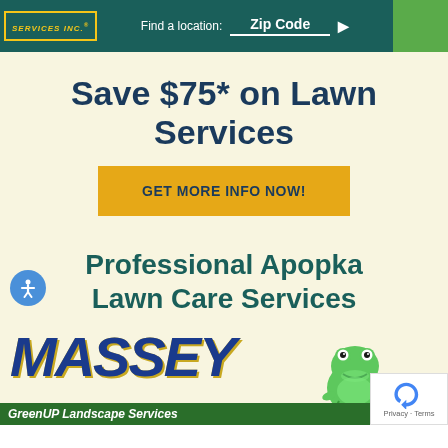SERVICES INC. | Find a location: Zip Code
Save $75* on Lawn Services
GET MORE INFO NOW!
Professional Apopka Lawn Care Services
[Figure (logo): Massey GreenUP Landscape Services logo with frog mascot]